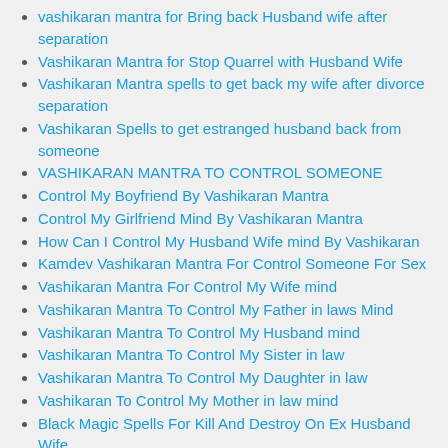vashikaran mantra for Bring back Husband wife after separation
Vashikaran Mantra for Stop Quarrel with Husband Wife
Vashikaran Mantra spells to get back my wife after divorce separation
Vashikaran Spells to get estranged husband back from someone
VASHIKARAN MANTRA TO CONTROL SOMEONE
Control My Boyfriend By Vashikaran Mantra
Control My Girlfriend Mind By Vashikaran Mantra
How Can I Control My Husband Wife mind By Vashikaran
Kamdev Vashikaran Mantra For Control Someone For Sex
Vashikaran Mantra For Control My Wife mind
Vashikaran Mantra To Control My Father in laws Mind
Vashikaran Mantra To Control My Husband mind
Vashikaran Mantra To Control My Sister in law
Vashikaran Mantra To Control My Daughter in law
Vashikaran To Control My Mother in law mind
Black Magic Spells For Kill And Destroy On Ex Husband Wife
Black Magic death spells to kill my husband